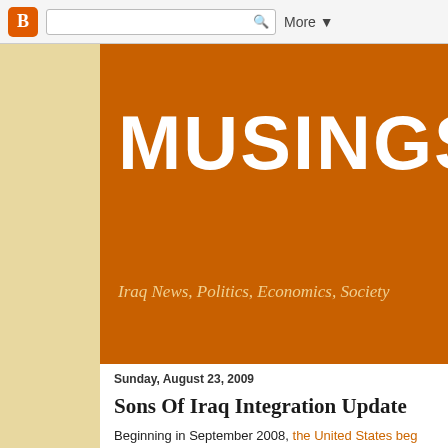Blogger toolbar with search box and More button
[Figure (screenshot): Blogger orange header banner showing 'MUSINGS O' (truncated) and subtitle 'Iraq News, Politics, Economics, Society']
Sunday, August 23, 2009
Sons Of Iraq Integration Update
Beginning in September 2008, the United States beg... The process went in stages with the SOI in Baghda... SOI are now on the government's payroll. Prime Mi... security forces, and the rest employment in civilian n...